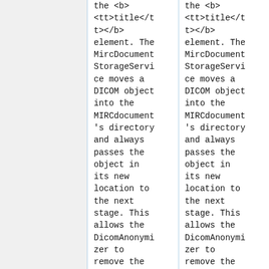the <b><tt>title</tt></b> element. The MircDocumentStorageService moves a DICOM object into the MIRCdocument's directory and always passes the object in its new location to the next stage. This allows the DicomAnonymizer to remove the
the <b><tt>title</tt></b> element. The MircDocumentStorageService moves a DICOM object into the MIRCdocument's directory and always passes the object in its new location to the next stage. This allows the DicomAnonymizer to remove the